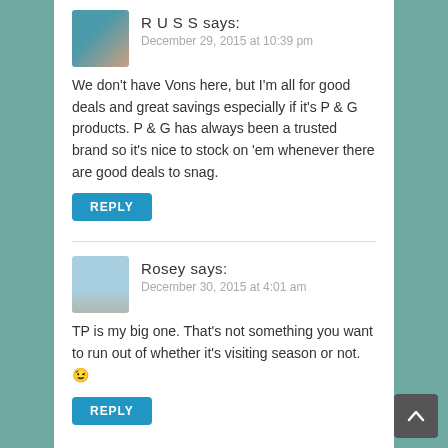R U S S says:
December 29, 2015 at 10:39 pm
We don't have Vons here, but I'm all for good deals and great savings especially if it's P & G products. P & G has always been a trusted brand so it's nice to stock on 'em whenever there are good deals to snag.
REPLY
Rosey says:
December 30, 2015 at 4:01 am
TP is my big one. That's not something you want to run out of whether it's visiting season or not. 😉
REPLY